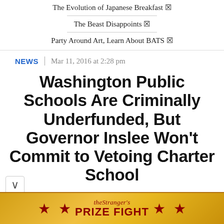The Evolution of Japanese Breakfast ☒
The Beast Disappoints ☒
Party Around Art, Learn About BATS ☒
NEWS  |  Mar 11, 2016 at 2:28 pm
Washington Public Schools Are Criminally Underfunded, But Governor Inslee Won't Commit to Vetoing Charter School
[Figure (illustration): The Stranger's Prize Fight banner — gold/yellow background with red stars and red text reading 'the Stranger's PRIZE FIGHT']